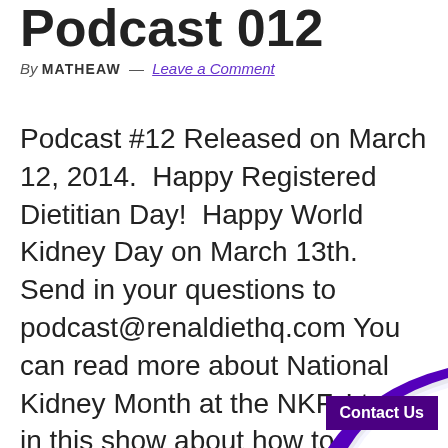Podcast 012
By MATHEAW — Leave a Comment
Podcast #12 Released on March 12, 2014.  Happy Registered Dietitian Day!  Happy World Kidney Day on March 13th. Send in your questions to podcast@renaldiethq.com You can read more about National Kidney Month at the NKF. I talk in this show about how to improve your new role as a
Contact Us